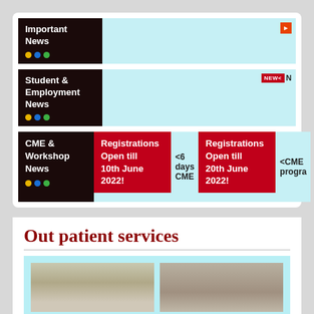Important News
Student & Employment News
CME & Workshop News
Registrations Open till 10th June 2022!
6 days CME
Registrations Open till 20th June 2022!
CME progra
Out patient services
[Figure (photo): Two photos of medical outpatient service area or personnel]